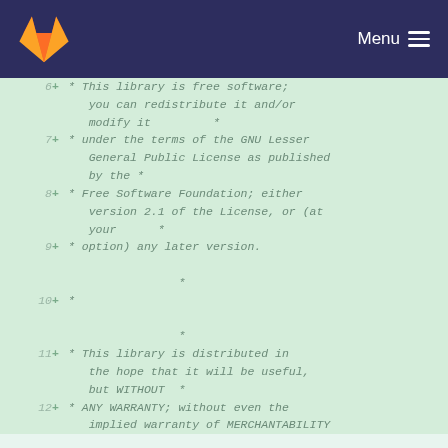GitLab — Menu
6  +  * This library is free software; you can redistribute it and/or modify it      *
7  +  * under the terms of the GNU Lesser General Public License as published by the *
8  +  * Free Software Foundation; either version 2.1 of the License, or (at your      *
9  +  * option) any later version.
                *
10 +  *
                *
11 +  * This library is distributed in the hope that it will be useful, but WITHOUT  *
12 +  * ANY WARRANTY; without even the implied warranty of MERCHANTABILITY